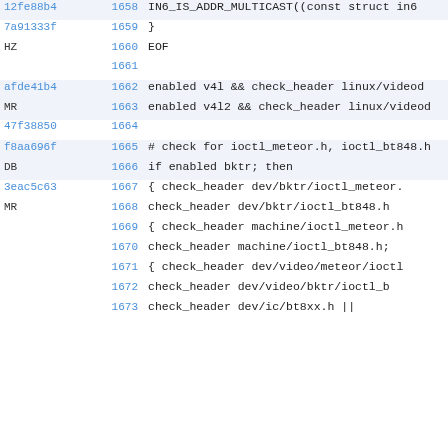12fe88b4 1658    IN6_IS_ADDR_MULTICAST((const struct in6
7a91333f 1659 }
HZ
         1660 EOF
         1661
afde41b4 1662 enabled v4l  && check_header linux/videod
MR
         1663 enabled v4l2 && check_header linux/videod
47f38850 1664
f8aa696f 1665 # check for ioctl_meteor.h, ioctl_bt848.h
DB
         1666 if enabled bktr; then
3eac5c63 1667      { check_header dev/bktr/ioctl_meteor.
MR
         1668        check_header dev/bktr/ioctl_bt848.h
         1669      { check_header machine/ioctl_meteor.h
         1670        check_header machine/ioctl_bt848.h;
         1671      { check_header dev/video/meteor/ioctl
         1672        check_header dev/video/bktr/ioctl_b
         1673        check_header dev/ic/bt8xx.h ||